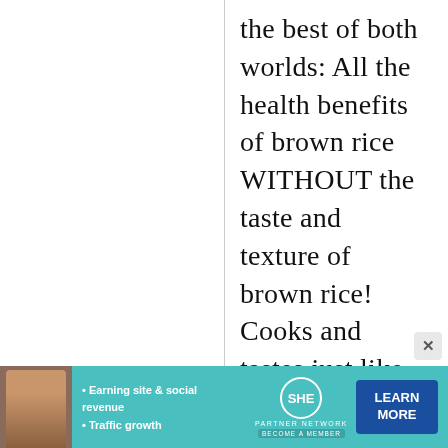the best of both worlds: All the health benefits of brown rice WITHOUT the taste and texture of brown rice! Cooks and tastes just like white rice, too. I buy it from my local Asian
[Figure (infographic): Advertisement banner for SHE Partner Network. Teal background with a woman's photo on the left, bullet points about earning site & social revenue and traffic growth, SHE Partner Network logo in center, and a LEARN MORE button on the right.]